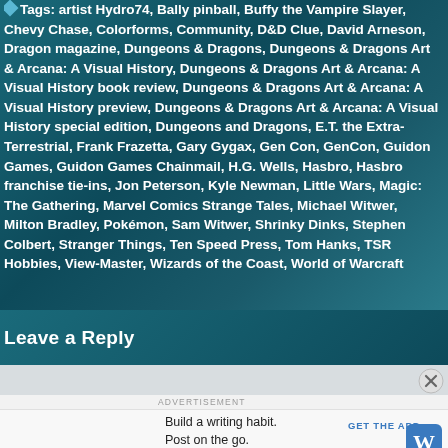Tags: artist Hydro74, Bally pinball, Buffy the Vampire Slayer, Chevy Chase, Colorforms, Community, D&D Clue, David Arneson, Dragon magazine, Dungeons & Dragons, Dungeons & Dragons Art & Arcana: A Visual History, Dungeons & Dragons Art & Arcana: A Visual History book review, Dungeons & Dragons Art & Arcana: A Visual History preview, Dungeons & Dragons Art & Arcana: A Visual History special edition, Dungeons and Dragons, E.T. the Extra-Terrestrial, Frank Frazetta, Gary Gygax, Gen Con, GenCon, Guidon Games, Guidon Games Chainmail, H.G. Wells, Hasbro, Hasbro franchise tie-ins, Jon Peterson, Kyle Newman, Little Wars, Magic: The Gathering, Marvel Comics Strange Tales, Michael Witwer, Milton Bradley, Pokémon, Sam Witwer, Shrinky Dinks, Stephen Colbert, Stranger Things, Ten Speed Press, Tom Hanks, TSR Hobbies, View-Master, Wizards of the Coast, World of Warcraft
Leave a Reply
Build a writing habit. Post on the go.
GET THE APP